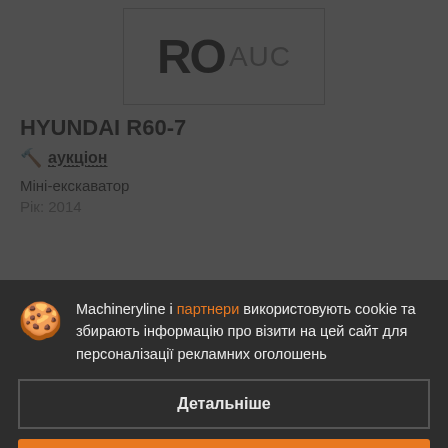[Figure (logo): RO AUC logo — bold black RO text with grey AUC beside it, inside a bordered box]
HYUNDAI R60-7
🔨 аукціон
Міні-екскаватор
Рік: 2014
Machineryline і партнери використовують cookie та збирають інформацію про візити на цей сайт для персоналізації рекламних оголошень
Детальніше
Погодитися і закрити